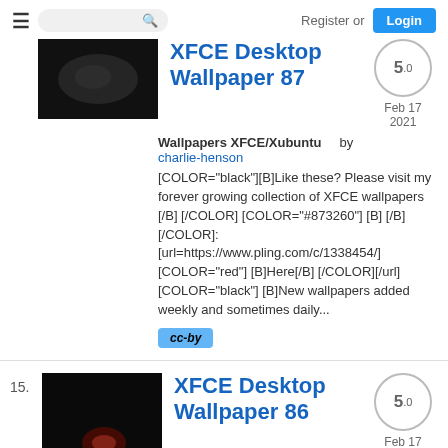Register or Login
[Figure (screenshot): Dark thumbnail image of a wallpaper]
XFCE Desktop Wallpaper 87
Wallpapers XFCE/Xubuntu   by charlie-henson
[COLOR="black"][B]Like these? Please visit my forever growing collection of XFCE wallpapers [/B] [/COLOR] [COLOR="#873260"] [B] [/B][/COLOR]: [url=https://www.pling.com/c/1338454/] [COLOR="red"] [B]Here[/B] [/COLOR][/url] [COLOR="black"] [B]New wallpapers added weekly and sometimes daily...
cc-by
Feb 17 2021
5.0
15.
[Figure (screenshot): Dark thumbnail image of a wallpaper with reddish glow]
XFCE Desktop Wallpaper 86
5.0
Feb 17 2021